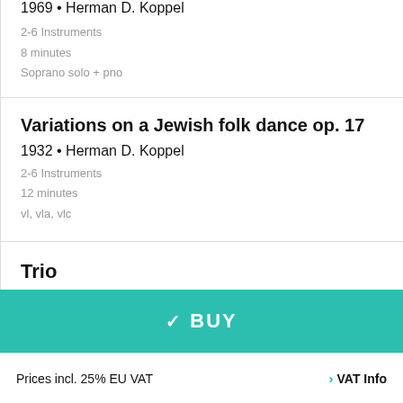1969 • Herman D. Koppel
2-6 Instruments
8 minutes
Soprano solo + pno
Variations on a Jewish folk dance op. 17
1932 • Herman D. Koppel
2-6 Instruments
12 minutes
vl, vla, vlc
Trio
✓ BUY
Prices incl. 25% EU VAT > VAT Info